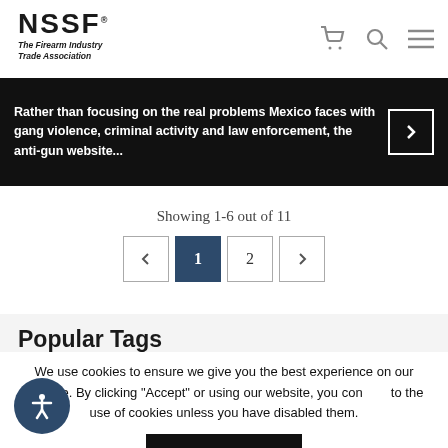[Figure (logo): NSSF logo with tagline 'The Firearm Industry Trade Association']
[Figure (screenshot): Dark banner with white text: 'Rather than focusing on the real problems Mexico faces with gang violence, criminal activity and law enforcement, the anti-gun website...' with a right-arrow navigation button]
Showing 1-6 out of 11
[Figure (other): Pagination controls: left arrow, page 1 (active/highlighted), page 2, right arrow]
Popular Tags
We use cookies to ensure we give you the best experience on our website. By clicking "Accept" or using our website, you consent to the use of cookies unless you have disabled them.
ACCEPT